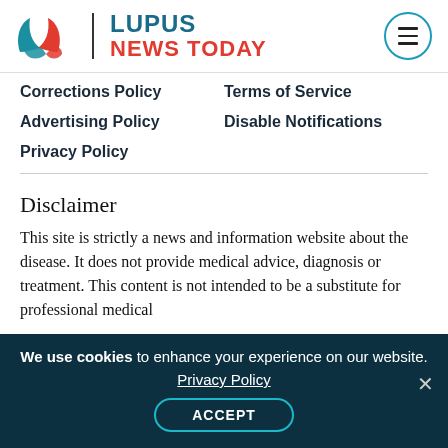[Figure (logo): Lupus News Today logo with butterfly/leaf icon in teal and red, text LUPUS NEWS TODAY in teal and red]
Corrections Policy
Terms of Service
Advertising Policy
Disable Notifications
Privacy Policy
Disclaimer
This site is strictly a news and information website about the disease. It does not provide medical advice, diagnosis or treatment. This content is not intended to be a substitute for professional medical
We use cookies to enhance your experience on our website.
Privacy Policy
ACCEPT